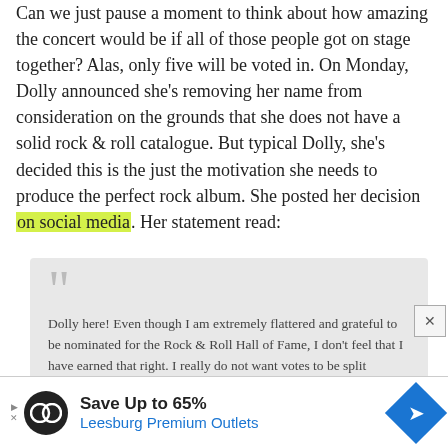Can we just pause a moment to think about how amazing the concert would be if all of those people got on stage together? Alas, only five will be voted in. On Monday, Dolly announced she's removing her name from consideration on the grounds that she does not have a solid rock & roll catalogue. But typical Dolly, she's decided this is the just the motivation she needs to produce the perfect rock album. She posted her decision on social media. Her statement read:
Dolly here! Even though I am extremely flattered and grateful to be nominated for the Rock & Roll Hall of Fame, I don't feel that I have earned that right. I really do not want votes to be split because of me, so I must respectfully bow out.
[Figure (infographic): Advertisement banner for Leesburg Premium Outlets: Save Up to 65%]